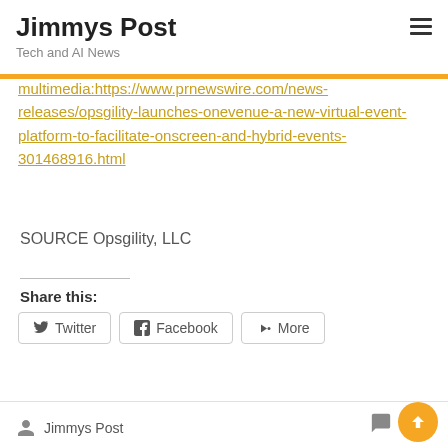Jimmys Post
Tech and AI News
multimedia:https://www.prnewswire.com/news-releases/opsgility-launches-onevenue-a-new-virtual-event-platform-to-facilitate-onscreen-and-hybrid-events-301468916.html
SOURCE Opsgility, LLC
Share this:
Twitter  Facebook  More
Jimmys Post